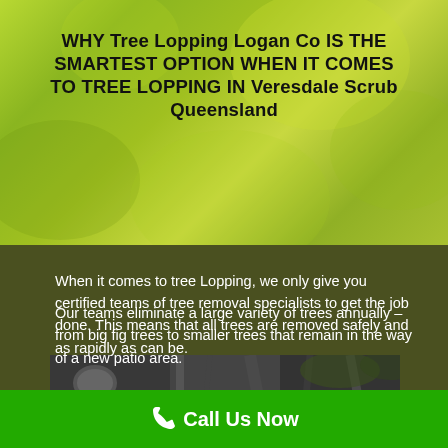WHY Tree Lopping Logan Co IS THE SMARTEST OPTION WHEN IT COMES TO TREE LOPPING IN Veresdale Scrub Queensland
When it comes to tree Lopping, we only give you certified teams of tree removal specialists to get the job done. This means that all trees are removed safely and as rapidly as can be.
Our teams eliminate a large variety of trees annually – from big fig trees to smaller trees that remain in the way of a new patio area.
[Figure (photo): Workers doing tree lopping, black and white photo of person with helmet in tree with chainsaw]
Call Us Now